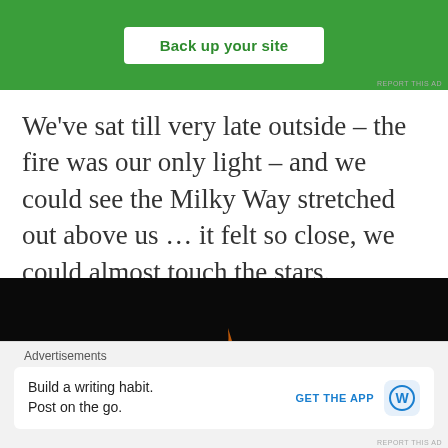[Figure (screenshot): Green advertisement banner with a white rounded-rectangle button labeled 'Back up your site'. A small 'REPORT THIS AD' link appears at the bottom right.]
We’ve sat till very late outside – the fire was our only light – and we could see the Milky Way stretched out above us … it felt so close, we could almost touch the stars.
[Figure (photo): A dark photograph showing a campfire with orange and yellow flames against a nearly black background. The bottom portion of the image is dark with faintly visible ground.]
[Figure (screenshot): A bottom advertisement bar with a white inner card. Text reads 'Build a writing habit. Post on the go.' with a 'GET THE APP' call-to-action in blue and a WordPress logo icon on the right. Labeled 'Advertisements' at the top.]